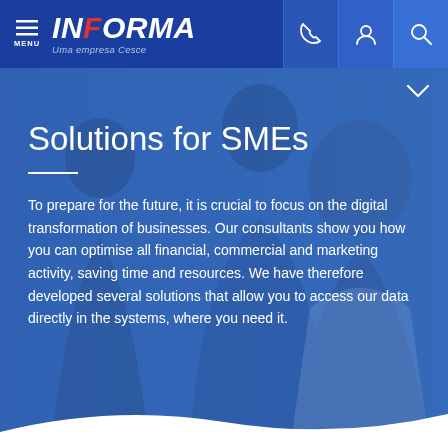MENU | INFORMA Uma empresa Cesce
Solutions for SMEs
To prepare for the future, it is crucial to focus on the digital transformation of businesses. Our consultants show you how you can optimise all financial, commercial and marketing activity, saving time and resources. We have therefore developed several solutions that allow you to access our data directly in the systems, where you need it.